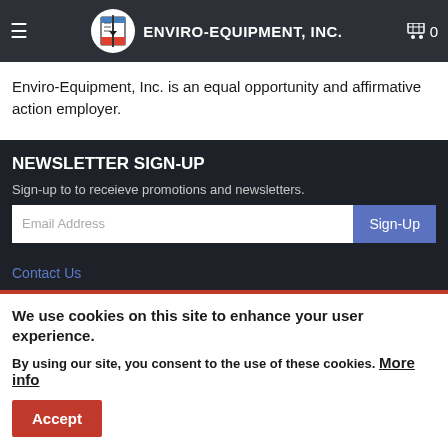ENVIRO-EQUIPMENT, INC.
Enviro-Equipment, Inc. is an equal opportunity and affirmative action employer.
NEWSLETTER SIGN-UP
Sign-up to to receieve promotions and newsletters.
Email Address | Sign-Up
Contact Us
We use cookies on this site to enhance your user experience.
By using our site, you consent to the use of these cookies. More info
Accept